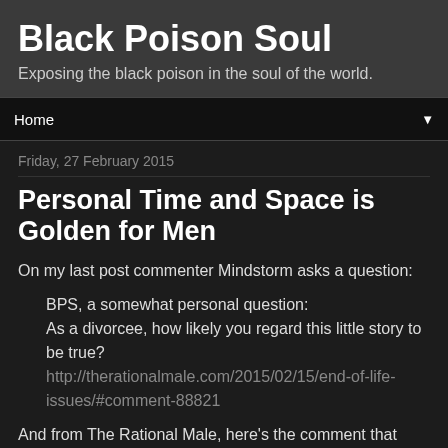Black Poison Soul
Exposing the black poison in the soul of the world.
Home ▼
Friday, 27 February 2015
Personal Time and Space is Golden for Men
On my last post commenter Mindstorm asks a question:
BPS, a somewhat personal question:
As a divorcee, how likely you regard this little story to be true?
http://therationalmale.com/2015/02/15/end-of-life-issues/#comment-88821
And from The Rational Male, here's the comment that